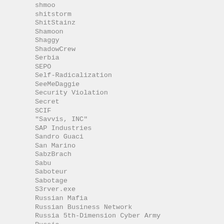shmoo
shitstorm
ShitStainz
Shamoon
Shaggy
ShadowCrew
Serbia
SEPO
Self-Radicalization
SeeMeDaggie
Security Violation
Secret
SCIF
"Savvis, INC"
SAP Industries
Sandro Guaci
San Marino
SabzBrach
Sabu
Saboteur
Sabotage
S3rver.exe
Russian Mafia
Russian Business Network
Russia 5th-Dimension Cyber Army
Russia
Run Forest malcode
Roulet
rootw0rm
Rootkit